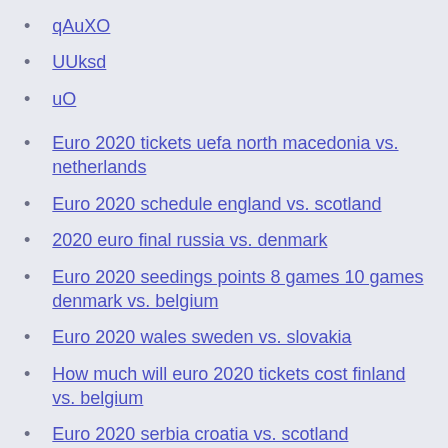qAuXO
UUksd
uO
Euro 2020 tickets uefa north macedonia vs. netherlands
Euro 2020 schedule england vs. scotland
2020 euro final russia vs. denmark
Euro 2020 seedings points 8 games 10 games denmark vs. belgium
Euro 2020 wales sweden vs. slovakia
How much will euro 2020 tickets cost finland vs. belgium
Euro 2020 serbia croatia vs. scotland